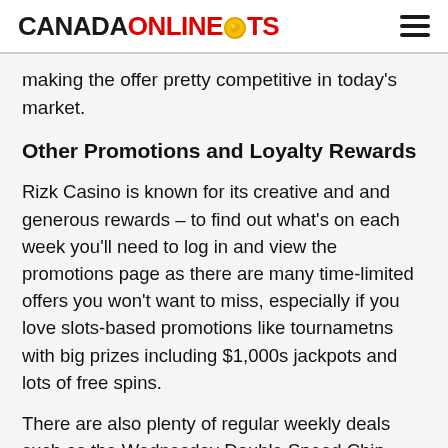CANADAONLINESLOTS
making the offer pretty competitive in today's market.
Other Promotions and Loyalty Rewards
Rizk Casino is known for its creative and and generous rewards – to find out what's on each week you'll need to log in and view the promotions page as there are many time-limited offers you won't want to miss, especially if you love slots-based promotions like tournamet ns with big prizes including $1,000s jackpots and lots of free spins.
There are also plenty of regular weekly deals such as the Wednesday Double Speed Chip promotion